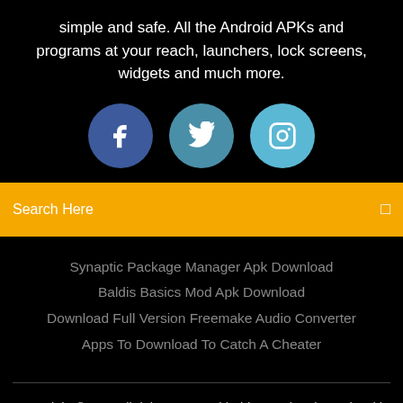simple and safe. All the Android APKs and programs at your reach, launchers, lock screens, widgets and much more.
[Figure (illustration): Three social media icon circles: Facebook (dark blue), Twitter (medium blue-teal), Instagram (light blue)]
Search Here
Synaptic Package Manager Apk Download
Baldis Basics Mod Apk Download
Download Full Version Freemake Audio Converter
Apps To Download To Catch A Cheater
Copyright ©2022 All rights reserved | This template is made with ♡ by Colorlib